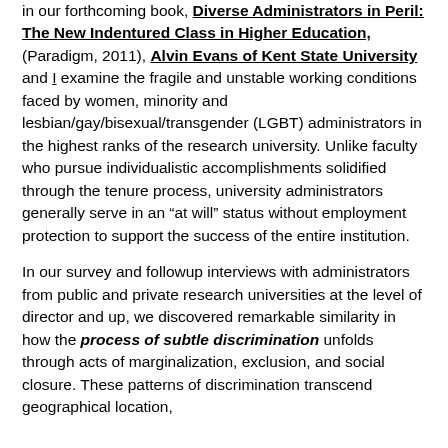in our forthcoming book, Diverse Administrators in Peril: The New Indentured Class in Higher Education, (Paradigm, 2011), Alvin Evans of Kent State University and I examine the fragile and unstable working conditions faced by women, minority and lesbian/gay/bisexual/transgender (LGBT) administrators in the highest ranks of the research university. Unlike faculty who pursue individualistic accomplishments solidified through the tenure process, university administrators generally serve in an "at will" status without employment protection to support the success of the entire institution.

In our survey and followup interviews with administrators from public and private research universities at the level of director and up, we discovered remarkable similarity in how the process of subtle discrimination unfolds through acts of marginalization, exclusion, and social closure. These patterns of discrimination transcend geographical location,